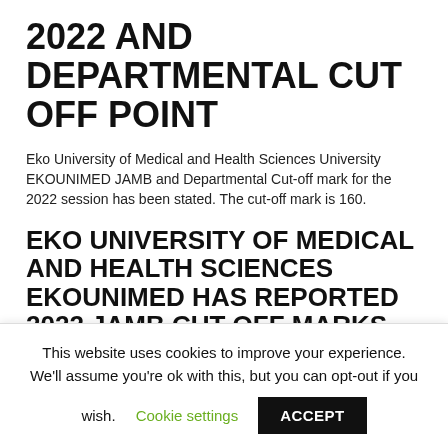2022 AND DEPARTMENTAL CUT OFF POINT
Eko University of Medical and Health Sciences University EKOUNIMED JAMB and Departmental Cut-off mark for the 2022 session has been stated. The cut-off mark is 160.
EKO UNIVERSITY OF MEDICAL AND HEALTH SCIENCES EKOUNIMED HAS REPORTED 2022 JAMB CUT OFF MARKS.
UTME applicants will just require a post UTME score of 160 preceding you can offer Admission into the college.
This website uses cookies to improve your experience. We'll assume you're ok with this, but you can opt-out if you wish.  Cookie settings  ACCEPT